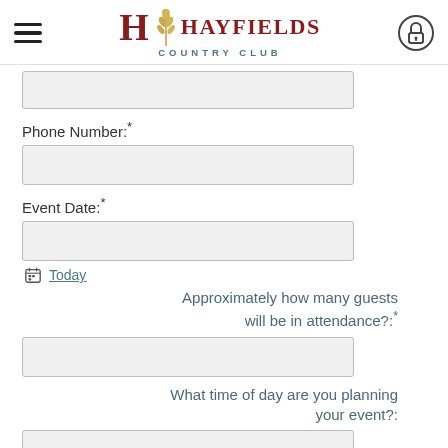Hayfields Country Club
Phone Number:*
Event Date:*
Today
Approximately how many guests will be in attendance?:*
What time of day are you planning your event?: